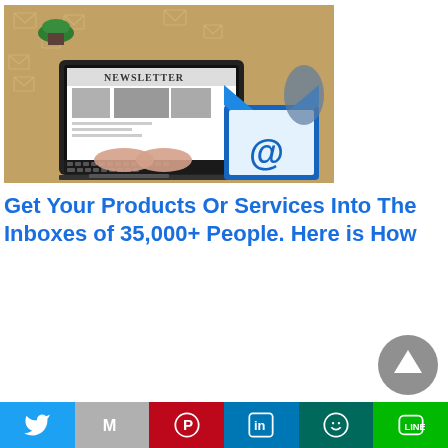[Figure (photo): Person typing on a laptop showing a Newsletter webpage, with email envelope icons scattered around on a wooden desk background, and a large blue email envelope with @ symbol in the foreground right]
Get Your Products Or Services Into The Inboxes of 35,000+ People. Here is How